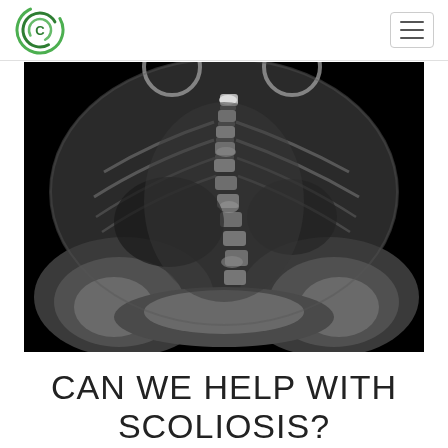[Figure (logo): Green circular swirl logo with letter C in the center]
[Figure (photo): Black and white X-ray image of a human spine showing scoliosis — frontal view of the lumbar and lower thoracic spine with visible lateral curvature, pelvis visible at bottom]
CAN WE HELP WITH SCOLIOSIS?